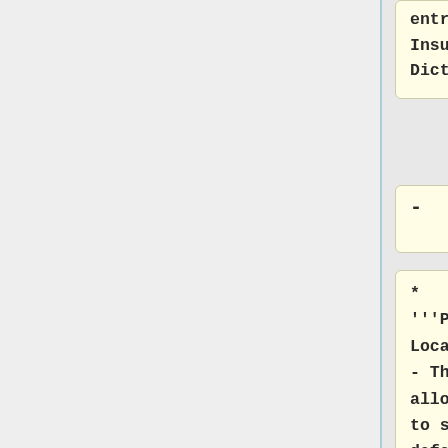entry in the Insurance Dictionary.
-
* '''Patient Location''' - This field allows you to specify defaults at the Patient Location level.  If that is your desired behavior, you would set this field to the